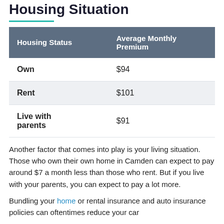Housing Situation
| Housing Status | Average Monthly Premium |
| --- | --- |
| Own | $94 |
| Rent | $101 |
| Live with parents | $91 |
Another factor that comes into play is your living situation. Those who own their own home in Camden can expect to pay around $7 a month less than those who rent. But if you live with your parents, you can expect to pay a lot more.
Bundling your home or rental insurance and auto insurance policies can oftentimes reduce your car